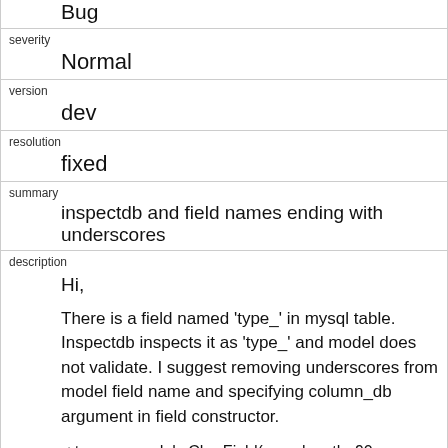| Bug |
| severity | Normal |
| version | dev |
| resolution | fixed |
| summary | inspectdb and field names ending with underscores |
| description | Hi,

There is a field named 'type_' in mysql table. Inspectdb inspects it as 'type_' and model does not validate. I suggest removing underscores from model field name and specifying column_db argument in field constructor.

< type_ = models.CharField(max_length=90, db_column='type_') |